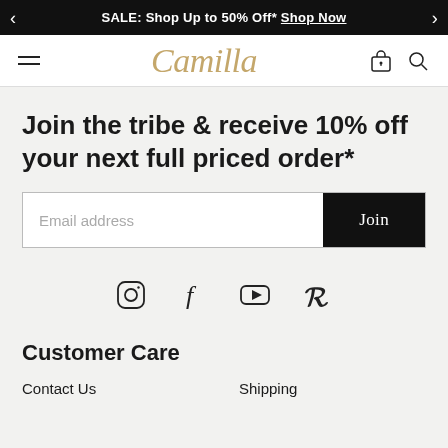SALE: Shop Up to 50% Off* Shop Now
[Figure (logo): Camilla brand logo in gold cursive script, with hamburger menu icon on left and bag/search icons on right]
Join the tribe & receive 10% off your next full priced order*
Email address [input field] Join [button]
[Figure (infographic): Row of four social media icons: Instagram, Facebook, YouTube, Pinterest]
Customer Care
Contact Us    Shipping